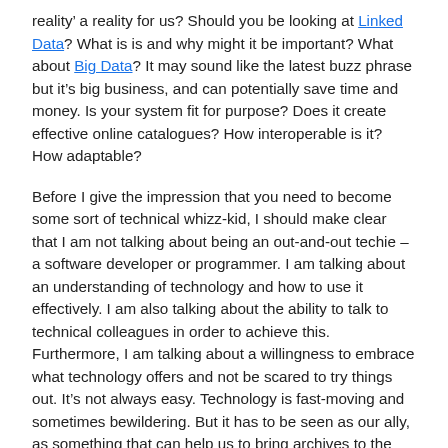reality' a reality for us? Should you be looking at Linked Data? What is is and why might it be important? What about Big Data? It may sound like the latest buzz phrase but it's big business, and can potentially save time and money. Is your system fit for purpose? Does it create effective online catalogues? How interoperable is it? How adaptable?
Before I give the impression that you need to become some sort of technical whizz-kid, I should make clear that I am not talking about being an out-and-out techie – a software developer or programmer. I am talking about an understanding of technology and how to use it effectively. I am also talking about the ability to talk to technical colleagues in order to achieve this. Furthermore, I am talking about a willingness to embrace what technology offers and not be scared to try things out. It's not always easy. Technology is fast-moving and sometimes bewildering. But it has to be seen as our ally, as something that can help us to bring archives to the public and to promote a greater understanding of what we do. We use it to catalogue, and I have written previously about how our choice of system has a great impact on our